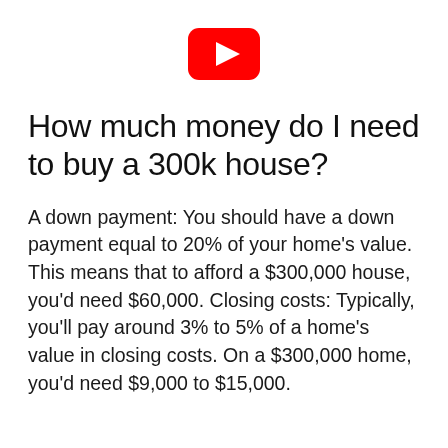[Figure (logo): YouTube logo — red rounded rectangle with white play triangle]
How much money do I need to buy a 300k house?
A down payment: You should have a down payment equal to 20% of your home's value. This means that to afford a $300,000 house, you'd need $60,000. Closing costs: Typically, you'll pay around 3% to 5% of a home's value in closing costs. On a $300,000 home, you'd need $9,000 to $15,000.